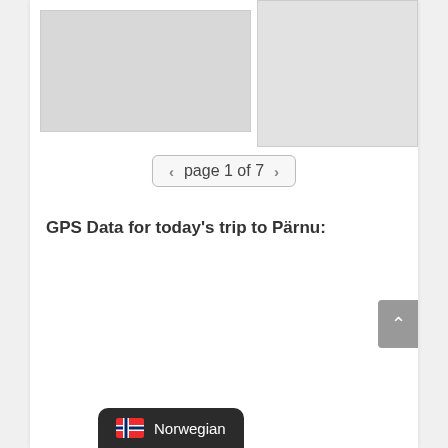[Figure (photo): Two photos partially visible at top of page, left photo larger showing landscape/travel scene, right photo taller showing a person]
page 1 of 7
GPS Data for today's trip to Pärnu:
[Figure (screenshot): Scroll-to-top button on right side]
Norwegian